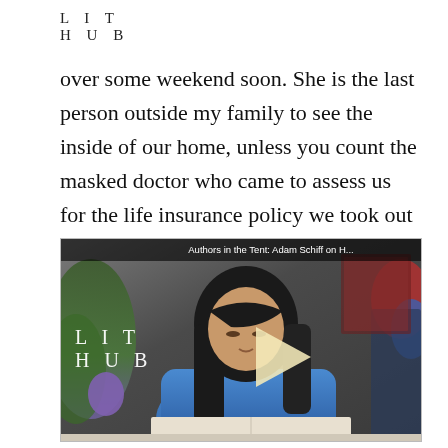L I T
H U B
over some weekend soon. She is the last person outside my family to see the inside of our home, unless you count the masked doctor who came to assess us for the life insurance policy we took out two months later.
[Figure (screenshot): Video player thumbnail showing a woman with long dark hair reading at a table, with the Lit Hub logo visible on the left and a play button overlay. Video title bar reads 'Authors in the Tent: Adam Schiff on H...']